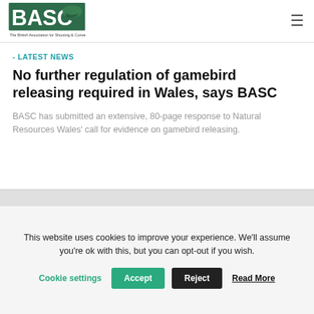BASC - The British Association for Shooting & Conservation
- LATEST NEWS
No further regulation of gamebird releasing required in Wales, says BASC
BASC has submitted an extensive, 80-page response to Natural Resources Wales' call for evidence on gamebird releasing.
This website uses cookies to improve your experience. We'll assume you're ok with this, but you can opt-out if you wish. Cookie settings Accept Reject Read More